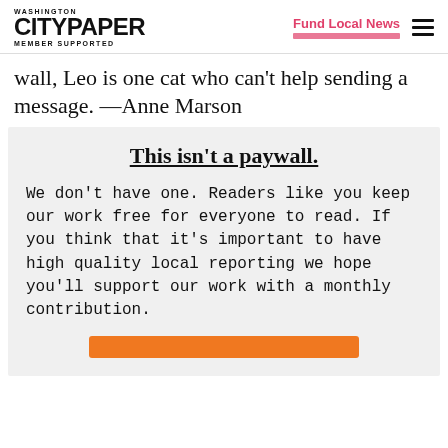Washington City Paper — Member Supported | Fund Local News
wall, Leo is one cat who can't help sending a message. —Anne Marson
This isn't a paywall.
We don't have one. Readers like you keep our work free for everyone to read. If you think that it's important to have high quality local reporting we hope you'll support our work with a monthly contribution.